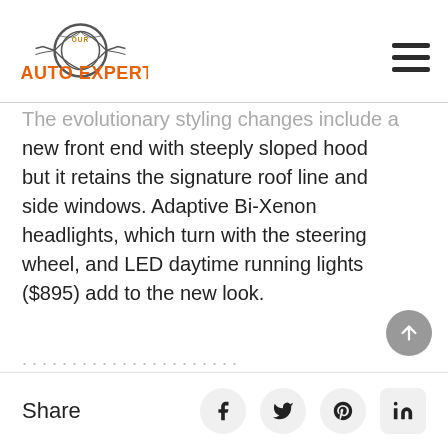OUR AUTO EXPERT [logo]
The evolutionary styling changes include a new front end with steeply sloped hood but it retains the signature roof line and side windows. Adaptive Bi-Xenon headlights, which turn with the steering wheel, and LED daytime running lights ($895) add to the new look.
[partially visible text at bottom]
Share [Facebook] [Twitter] [Pinterest] [LinkedIn]